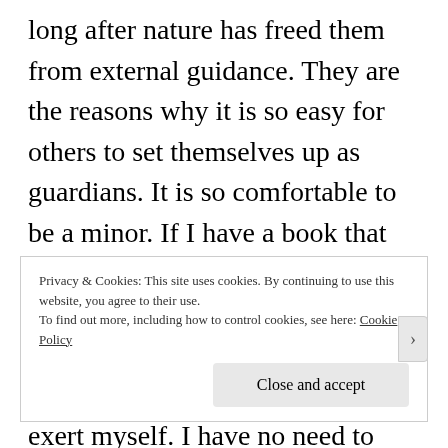long after nature has freed them from external guidance. They are the reasons why it is so easy for others to set themselves up as guardians. It is so comfortable to be a minor. If I have a book that thinks for me, a pastor who acts as my conscience, a physician who prescribes my diet [or vaccine], and so on--then I have no need to exert myself. I have no need to think, if only I can pay; others will take care of that
Privacy & Cookies: This site uses cookies. By continuing to use this website, you agree to their use.
To find out more, including how to control cookies, see here: Cookie Policy
Close and accept